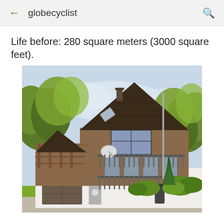globecyclist
Life before: 280 square meters (3000 square feet).
[Figure (photo): Exterior photo of a large two-story chalet-style house with a steep dark brown gabled roof, wooden balconies on both floors, large windows, a satellite dish, a white ground-floor garage with a brown door, surrounded by green trees and shrubs.]